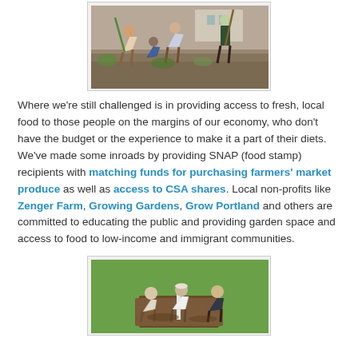[Figure (photo): People working in a garden, digging soil with tools]
Where we're still challenged is in providing access to fresh, local food to those people on the margins of our economy, who don't have the budget or the experience to make it a part of their diets. We've made some inroads by providing SNAP (food stamp) recipients with matching funds for purchasing farmers' market produce as well as access to CSA shares. Local non-profits like Zenger Farm, Growing Gardens, Grow Portland and others are committed to educating the public and providing garden space and access to food to low-income and immigrant communities.
[Figure (photo): People kneeling on grass planting in a garden bed]